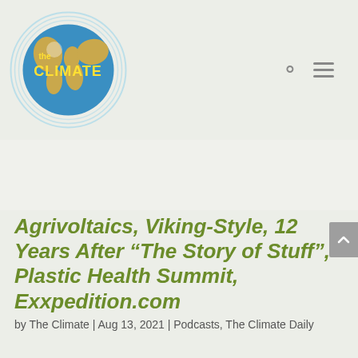[Figure (logo): The Climate website logo: a globe with blue oceans and golden landmasses, surrounded by light blue concentric rings, with 'the' in small yellow text and 'CLIMATE' in large bold yellow text on the globe]
Agrivoltaics, Viking-Style, 12 Years After “The Story of Stuff”, Plastic Health Summit, Exxpedition.com
by The Climate | Aug 13, 2021 | Podcasts, The Climate Daily